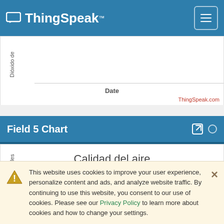ThingSpeak™
[Figure (continuous-plot): Partial chart showing rotated y-axis label 'Dióxido de' (truncated), a horizontal line representing the x-axis, 'Date' x-axis label, and 'ThingSpeak.com' watermark in red.]
Field 5 Chart
[Figure (continuous-plot): Partial chart area showing rotated y-axis label 'iles totales' (truncated), and centered title 'Calidad del aire'.]
This website uses cookies to improve your user experience, personalize content and ads, and analyze website traffic. By continuing to use this website, you consent to our use of cookies. Please see our Privacy Policy to learn more about cookies and how to change your settings.